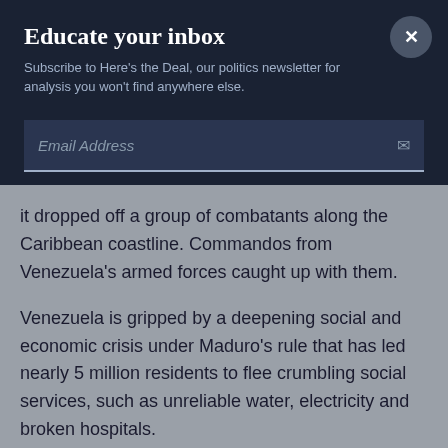Educate your inbox
Subscribe to Here's the Deal, our politics newsletter for analysis you won't find anywhere else.
Email Address
it dropped off a group of combatants along the Caribbean coastline. Commandos from Venezuela's armed forces caught up with them.
Venezuela is gripped by a deepening social and economic crisis under Maduro's rule that has led nearly 5 million residents to flee crumbling social services, such as unreliable water, electricity and broken hospitals.